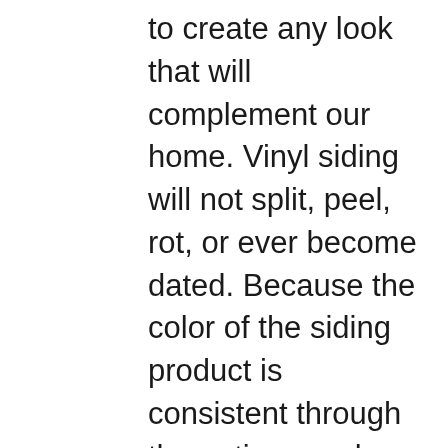to create any look that will complement our home. Vinyl siding will not split, peel, rot, or ever become dated. Because the color of the siding product is consistent through the entire panel, vinyl siding never needs to be scraped, stained, or repainted. Does your vinyl siding look worse for wear? Are you thinking about replacement vinyl siding as your next structure renovation project? We would love to help you make it